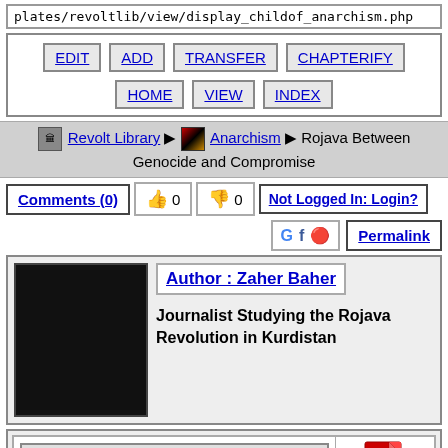plates/revoltlib/view/display_childof_anarchism.php
EDIT | ADD | TRANSFER | CHAPTERIFY | HOME | VIEW | INDEX
Revolt Library > Anarchism > Rojava Between Genocide and Compromise
Comments (0)  0  0  Not Logged In: Login?
Permalink
Author : Zaher Baher
Journalist Studying the Rojava Revolution in Kurdistan
[Figure (screenshot): PDF icon (red)]
[Figure (screenshot): Text/document icon (grey)]
Listen